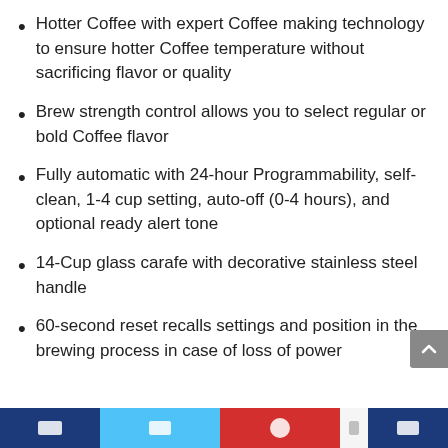Hotter Coffee with expert Coffee making technology to ensure hotter Coffee temperature without sacrificing flavor or quality
Brew strength control allows you to select regular or bold Coffee flavor
Fully automatic with 24-hour Programmability, self-clean, 1-4 cup setting, auto-off (0-4 hours), and optional ready alert tone
14-Cup glass carafe with decorative stainless steel handle
60-second reset recalls settings and position in the brewing process in case of loss of power